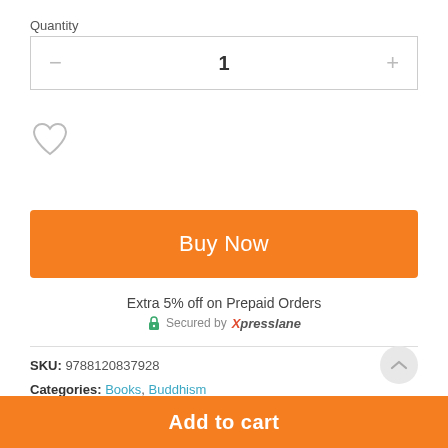Quantity
— 1 +
[Figure (illustration): Heart outline icon (wishlist/favorite button)]
Buy Now
Extra 5% off on Prepaid Orders
Secured by Xpresslane
SKU: 9788120837928
Categories: Books, Buddhism
Tags: Buddhism, Buddhism,Motilal Banarsidass, Motilal
Add to cart